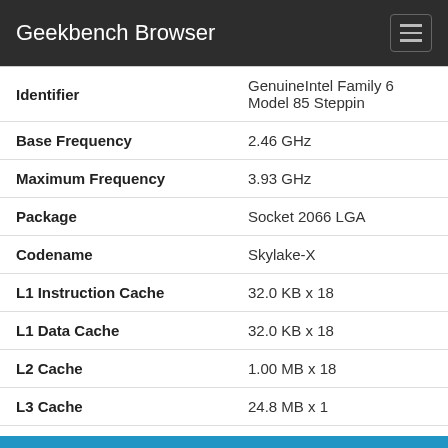Geekbench Browser
| Property | Value |
| --- | --- |
| Identifier | GenuineIntel Family 6 Model 85 Steppin |
| Base Frequency | 2.46 GHz |
| Maximum Frequency | 3.93 GHz |
| Package | Socket 2066 LGA |
| Codename | Skylake-X |
| L1 Instruction Cache | 32.0 KB x 18 |
| L1 Data Cache | 32.0 KB x 18 |
| L2 Cache | 1.00 MB x 18 |
| L3 Cache | 24.8 MB x 1 |
Single-Core Performance
| Metric | Score |
| --- | --- |
| Single-Core Score | 5381 |
| Crypto Score | 4130 |